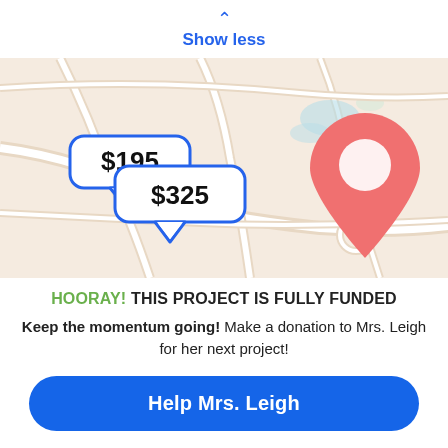Show less
[Figure (map): A map view showing roads and terrain with a large red location pin in the center and two blue speech-bubble callouts showing '$195' and '$325' on the left side.]
HOORAY! THIS PROJECT IS FULLY FUNDED
Keep the momentum going! Make a donation to Mrs. Leigh for her next project!
Help Mrs. Leigh